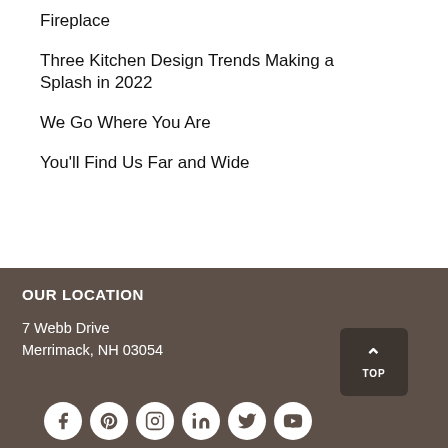Fireplace
Three Kitchen Design Trends Making a Splash in 2022
We Go Where You Are
You'll Find Us Far and Wide
OUR LOCATION
7 Webb Drive
Merrimack, NH 03054